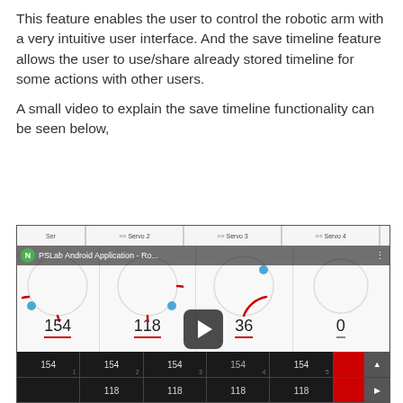This feature enables the user to control the robotic arm with a very intuitive user interface. And the save timeline feature allows the user to use/share already stored timeline for some actions with other users.
A small video to explain the save timeline functionality can be seen below,
[Figure (screenshot): Screenshot of PSLab Android Application - Robotic arm controller showing servo knob controls with values 154, 118, 36, 0 and a YouTube video thumbnail with play button overlay. Bottom data table shows servo timeline values: row 1: 154,154,154,154,154; row 2: (blank),118,118,118,118]